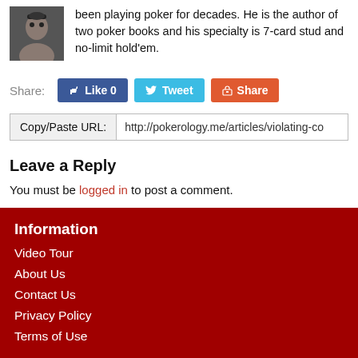[Figure (photo): Author headshot photo, dark background]
been playing poker for decades. He is the author of two poker books and his specialty is 7-card stud and no-limit hold'em.
Share: Like 0  Tweet  Share
Copy/Paste URL: http://pokerology.me/articles/violating-co
Leave a Reply
You must be logged in to post a comment.
Information
Video Tour
About Us
Contact Us
Privacy Policy
Terms of Use